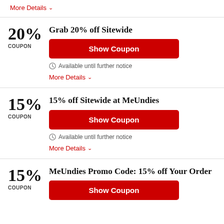More Details ∨
Grab 20% off Sitewide
Show Coupon
Available until further notice
More Details ∨
15% off Sitewide at MeUndies
Show Coupon
Available until further notice
More Details ∨
MeUndies Promo Code: 15% off Your Order
Show Coupon